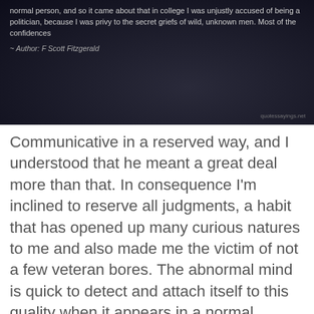[Figure (illustration): Dark background image with overlaid quote text. The quote reads: 'normal person, and so it came about that in college I was unjustly accused of being a politician, because I was privy to the secret griefs of wild, unknown men. Most of the confidences' with attribution '~ Author: F Scott Fitzgerald'. Watermark 'quotessayings.net' bottom right.]
Communicative in a reserved way, and I understood that he meant a great deal more than that. In consequence I'm inclined to reserve all judgments, a habit that has opened up many curious natures to me and also made me the victim of not a few veteran bores. The abnormal mind is quick to detect and attach itself to this quality when it appears in a normal person, and so it came about that in college I was unjustly accused of being a politician, because I was privy to the secret griefs of wild, unknown men. Most of the confidences were unsought - frequently I have